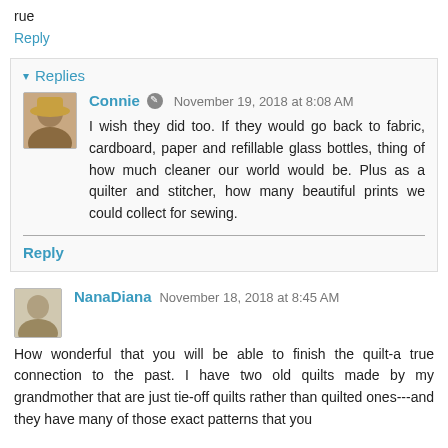rue
Reply
▾ Replies
Connie  November 19, 2018 at 8:08 AM
I wish they did too. If they would go back to fabric, cardboard, paper and refillable glass bottles, thing of how much cleaner our world would be. Plus as a quilter and stitcher, how many beautiful prints we could collect for sewing.
Reply
NanaDiana  November 18, 2018 at 8:45 AM
How wonderful that you will be able to finish the quilt-a true connection to the past. I have two old quilts made by my grandmother that are just tie-off quilts rather than quilted ones---and they have many of those exact patterns that you